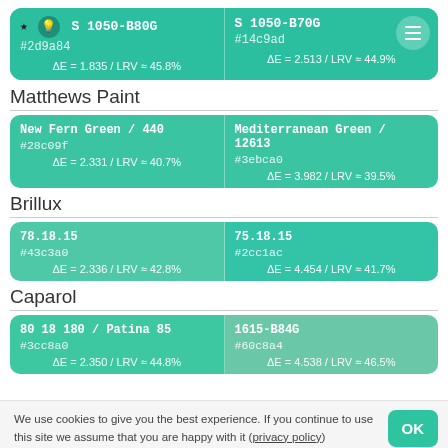[Figure (infographic): Two NCS color swatches side by side: S 1050-B80G (#2d9a84) and S 1050-B70G (#14c9ad) with delta E and LRV values]
Matthews Paint
[Figure (infographic): Two Matthews Paint color swatches: New Fern Green / 440 (#28c09f) and Mediterranean Green / 12613 (#3ebca0)]
Brillux
[Figure (infographic): Two Brillux color swatches: 78.18.15 (#43c3a0) and 75.18.15 (#2cc1ac)]
Caparol
[Figure (infographic): Two Caparol color swatches: 80 18 180 / Patina 85 (#3cc8a0) and 1615-B84G (#60c8a4)]
We use cookies to give you the best experience. If you continue to use this site we assume that you are happy with it (privacy policy)